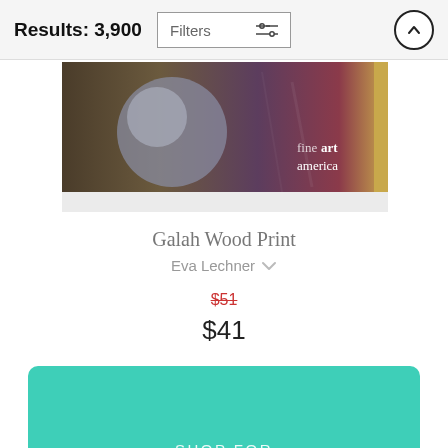Results: 3,900
[Figure (screenshot): Filters button with sliders icon and an up-arrow circular button]
[Figure (photo): Galah Wood Print product image showing a framed artwork with a bird painting on wood, branded with Fine Art America logo]
Galah Wood Print
Eva Lechner
$51 (strikethrough original price)
$41
[Figure (infographic): Teal banner with text: SHOP FOR STICKERS - Browse millions of fun stickers designed]